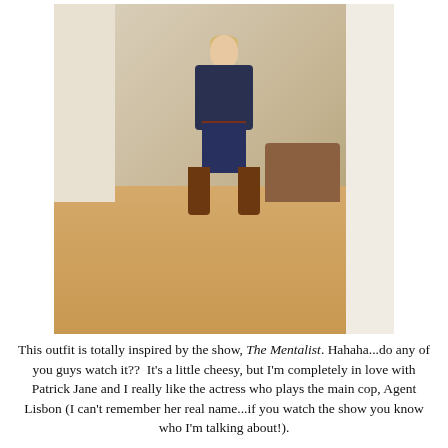[Figure (photo): A young blonde woman standing in a room with hardwood floors, wearing a navy blazer, grey tank top, dark capri jeans with a brown belt, and tall brown leather boots. The room has white walls and a brown sofa visible in the background.]
This outfit is totally inspired by the show, The Mentalist. Hahaha...do any of you guys watch it??  It's a little cheesy, but I'm completely in love with Patrick Jane and I really like the actress who plays the main cop, Agent Lisbon (I can't remember her real name...if you watch the show you know who I'm talking about!).